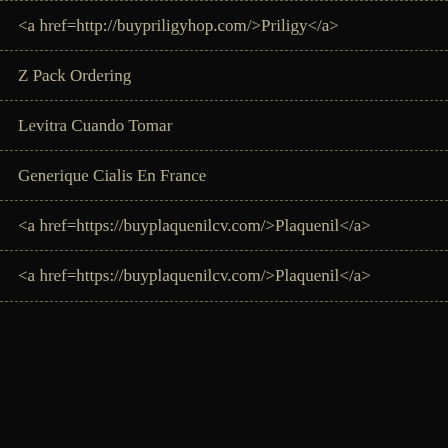<a href=http://buypriligyhop.com/>Priligy</a>
Z Pack Ordering
Levitra Cuando Tomar
Generique Cialis En France
<a href=https://buyplaquenilcv.com/>Plaquenil</a>
<a href=https://buyplaquenilcv.com/>Plaquenil</a>